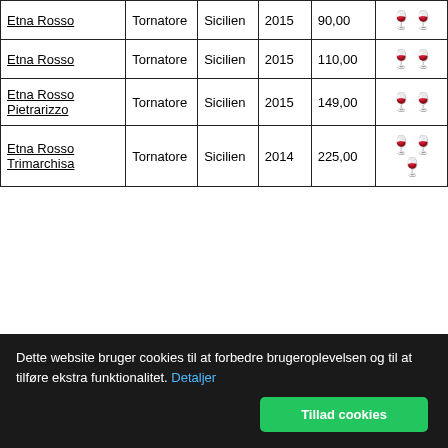| Etna Rosso | Tornatore | Sicilien | 2015 | 90,00 | 🍷🍷 |
| Etna Rosso | Tornatore | Sicilien | 2015 | 110,00 | 🍷🍷 |
| Etna Rosso Pietrarizzo | Tornatore | Sicilien | 2015 | 149,00 | 🍷🍷 |
| Etna Rosso Trimarchisa | Tornatore | Sicilien | 2014 | 225,00 | 🍷🍷🍷 |
Dette website bruger cookies til at forbedre brugeroplevelsen og til at tilføre ekstra funktionalitet. Detaljer
Tillad cookies